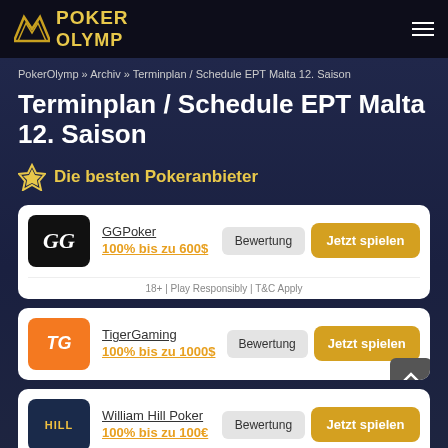POKER OLYMP
PokerOlymp » Archiv » Terminplan / Schedule EPT Malta 12. Saison
Terminplan / Schedule EPT Malta 12. Saison
Die besten Pokeranbieter
| Logo | Anbieter | Bewertung | Aktion |
| --- | --- | --- | --- |
| GG | GGPoker
100% bis zu 600$ | Bewertung | Jetzt spielen |
| TG | TigerGaming
100% bis zu 1000$ | Bewertung | Jetzt spielen |
| HILL | William Hill Poker
100% bis zu 100€ | Bewertung | Jetzt spielen |
18+ | Play Responsibly | T&C Apply